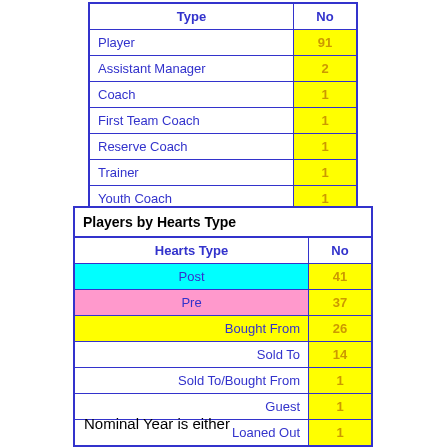| Type | No |
| --- | --- |
| Player | 91 |
| Assistant Manager | 2 |
| Coach | 1 |
| First Team Coach | 1 |
| Reserve Coach | 1 |
| Trainer | 1 |
| Youth Coach | 1 |
| Hearts Type | No |
| --- | --- |
| Post | 41 |
| Pre | 37 |
| Bought From | 26 |
| Sold To | 14 |
| Sold To/Bought From | 1 |
| Guest | 1 |
| Loaned Out | 1 |
Nominal Year is either